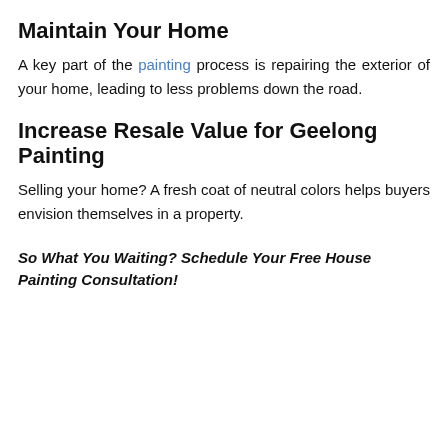Maintain Your Home
A key part of the painting process is repairing the exterior of your home, leading to less problems down the road.
Increase Resale Value for Geelong Painting
Selling your home? A fresh coat of neutral colors helps buyers envision themselves in a property.
So What You Waiting? Schedule Your Free House Painting Consultation!